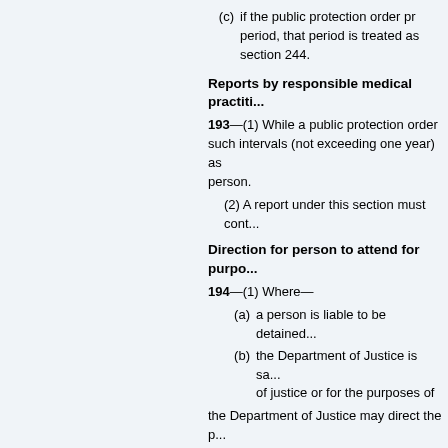(c) if the public protection order pr... period, that period is treated as... section 244.
Reports by responsible medical practiti...
193—(1) While a public protection order... such intervals (not exceeding one year) as... person.
(2) A report under this section must cont...
Direction for person to attend for purpo...
194—(1) Where—
(a) a person is liable to be detained...
(b) the Department of Justice is sa... of justice or for the purposes of...
the Department of Justice may direct the p...
(2) Where a person is directed under th... directs, to be kept in custody—
(a) while being taken to that place;
(b) while at that place; and
(c) while being taken back to the es...